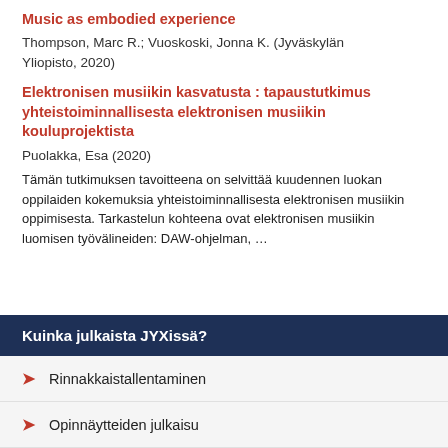Music as embodied experience
Thompson, Marc R.; Vuoskoski, Jonna K. (Jyväskylän Yliopisto, 2020)
Elektronisen musiikin kasvatusta : tapaustutkimus yhteistoiminnallisesta elektronisen musiikin kouluprojektista
Puolakka, Esa (2020)
Tämän tutkimuksen tavoitteena on selvittää kuudennen luokan oppilaiden kokemuksia yhteistoiminnallisesta elektronisen musiikin oppimisesta. Tarkastelun kohteena ovat elektronisen musiikin luomisen työvälineiden: DAW-ohjelman, …
Kuinka julkaista JYXissä?
Rinnakkaistallentaminen
Opinnäytteiden julkaisu